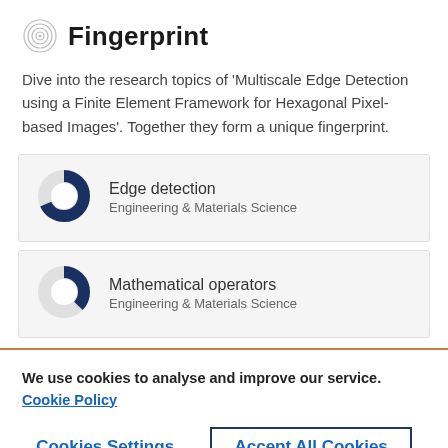Fingerprint
Dive into the research topics of 'Multiscale Edge Detection using a Finite Element Framework for Hexagonal Pixel-based Images'. Together they form a unique fingerprint.
[Figure (infographic): Donut chart showing 'Edge detection' with approximately 93% fill, dark navy blue. Label: Engineering & Materials Science]
[Figure (infographic): Donut chart showing 'Mathematical operators' with approximately 62% fill, dark navy blue. Label: Engineering & Materials Science]
We use cookies to analyse and improve our service. Cookie Policy
Cookies Settings
Accept All Cookies